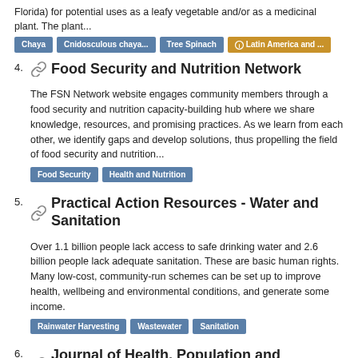Florida) for potential uses as a leafy vegetable and/or as a medicinal plant. The plant...
Chaya | Cnidosculous chaya... | Tree Spinach | Latin America and ...
4. Food Security and Nutrition Network — The FSN Network website engages community members through a food security and nutrition capacity-building hub where we share knowledge, resources, and promising practices. As we learn from each other, we identify gaps and develop solutions, thus propelling the field of food security and nutrition...
Food Security | Health and Nutrition
5. Practical Action Resources - Water and Sanitation — Over 1.1 billion people lack access to safe drinking water and 2.6 billion people lack adequate sanitation. These are basic human rights. Many low-cost, community-run schemes can be set up to improve health, wellbeing and environmental conditions, and generate some income.
Rainwater Harvesting | Wastewater | Sanitation
6. Journal of Health, Population and Nutrition